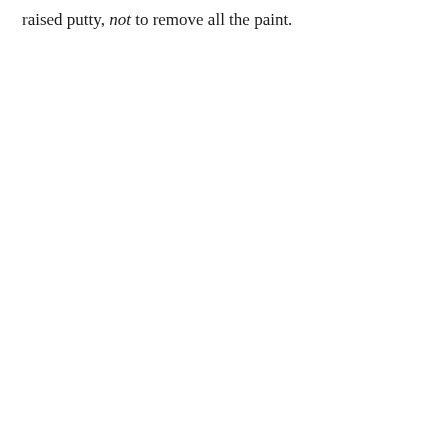raised putty, not to remove all the paint.